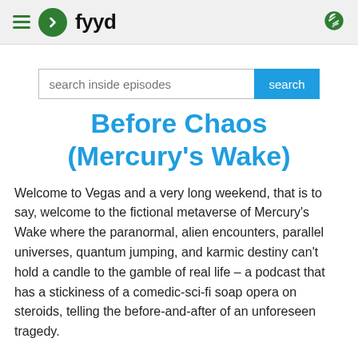fyyd
[Figure (screenshot): Search bar with text 'search inside episodes' and a blue 'search' button]
Before Chaos (Mercury's Wake)
Welcome to Vegas and a very long weekend, that is to say, welcome to the fictional metaverse of Mercury's Wake where the paranormal, alien encounters, parallel universes, quantum jumping, and karmic destiny can't hold a candle to the gamble of real life – a podcast that has a stickiness of a comedic-sci-fi soap opera on steroids, telling the before-and-after of an unforeseen tragedy.